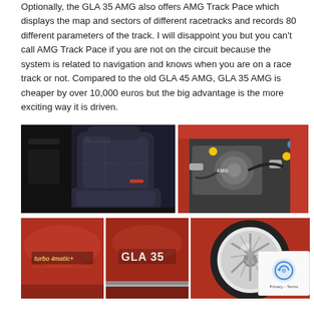Optionally, the GLA 35 AMG also offers AMG Track Pace which displays the map and sectors of different racetracks and records 80 different parameters of the track. I will disappoint you but you can't call AMG Track Pace if you are not on the circuit because the system is related to navigation and knows when you are on a race track or not. Compared to the old GLA 45 AMG, GLA 35 AMG is cheaper by over 10,000 euros but the big advantage is the more exciting way it is driven.
[Figure (photo): Interior photo showing leather sport seats of Mercedes-AMG GLA 35]
[Figure (photo): Engine bay photo of the Mercedes-AMG GLA 35 showing turbocharged engine]
[Figure (photo): Close-up of turbo badge on red exterior of Mercedes-AMG GLA 35]
[Figure (photo): Close-up of GLA 35 badge on red exterior]
[Figure (photo): Close-up of AMG alloy wheel of the GLA 35]